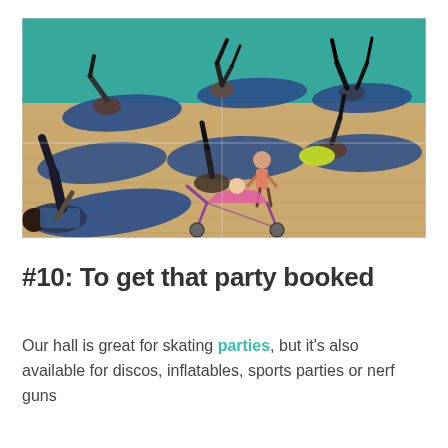[Figure (photo): A gymnasium or sports hall with a wooden floor and teal/green walls. Several adults are lying on blue exercise mats doing a legs-up core exercise. A young child stands near the center, and a toy baby stroller/pram is visible in the foreground.]
#10: To get that party booked
Our hall is great for skating parties, but it's also available for discos, inflatables, sports parties or nerf guns